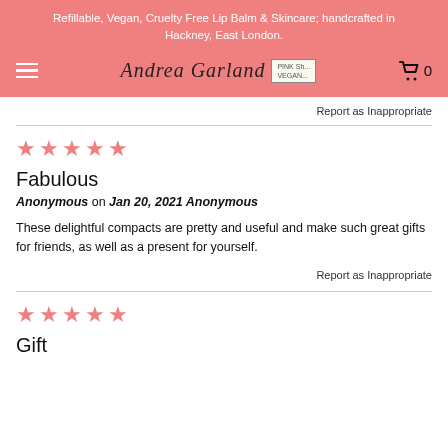Refillable, Vegan, Cruelty Free Lip Balm & Skincare; handcrafted in Hackney, East London.
Report as Inappropriate
[Figure (other): Five pink/salmon star rating icons]
Fabulous
Anonymous on Jan 20, 2021 Anonymous
These delightful compacts are pretty and useful and make such great gifts for friends, as well as a present for yourself.
Report as Inappropriate
[Figure (other): Five pink/salmon star rating icons]
Gift